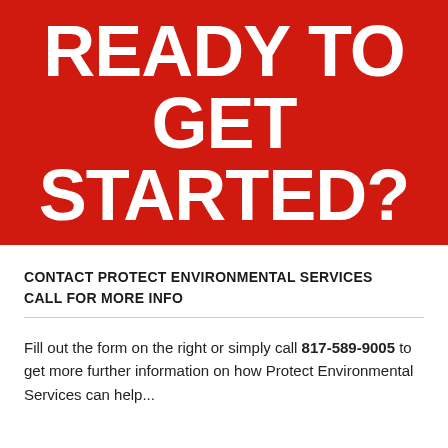READY TO GET STARTED?
CONTACT PROTECT ENVIRONMENTAL SERVICES
CALL FOR MORE INFO
Fill out the form on the right or simply call 817-589-9005 to get more further information on how Protect Environmental Services can help...